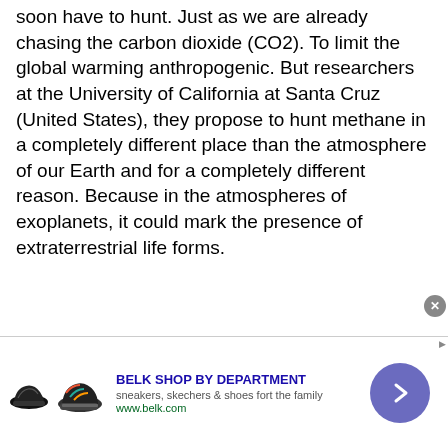soon have to hunt. Just as we are already chasing the carbon dioxide (CO2). To limit the global warming anthropogenic. But researchers at the University of California at Santa Cruz (United States), they propose to hunt methane in a completely different place than the atmosphere of our Earth and for a completely different reason. Because in the atmospheres of exoplanets, it could mark the presence of extraterrestrial life forms.
[Figure (other): Advertisement banner for Belk Shop by Department showing two sneakers, text 'BELK SHOP BY DEPARTMENT', 'sneakers, skechers & shoes fort the family', 'www.belk.com', a circular arrow button, and a close button.]